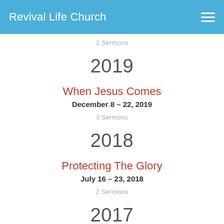Revival Life Church
2 Sermons
2019
When Jesus Comes
December 8 – 22, 2019
3 Sermons
2018
Protecting The Glory
July 16 – 23, 2018
2 Sermons
2017
We Before Me
February 14, 2017